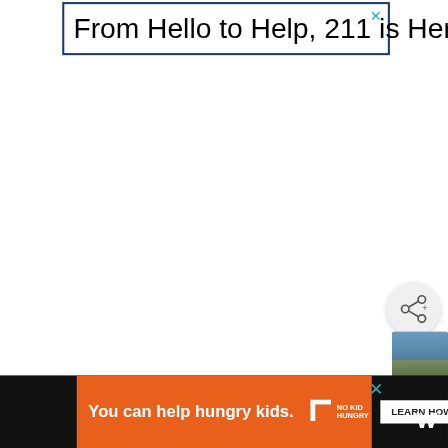[Figure (screenshot): Top advertisement banner with dark blue border. Text reads 'From Hello to Help, 211 is Here' with a teal X close button in the top-right corner.]
[Figure (screenshot): Circular share button with share icon (three dots connected) on light gray background, positioned on right side of page.]
[Figure (photo): Small circular thumbnail photo of a landscape/outdoor scene on the right edge.]
[Figure (screenshot): Bottom advertisement bar on black background. Orange panel with text 'You can help hungry kids.' followed by No Kid Hungry logo, and a white 'LEARN HOW' button. Teal X close icon. Weather channel logo 'W°' on far right.]